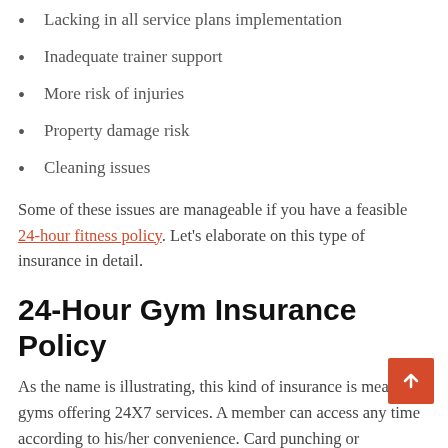Lacking in all service plans implementation
Inadequate trainer support
More risk of injuries
Property damage risk
Cleaning issues
Some of these issues are manageable if you have a feasible 24-hour fitness policy. Let's elaborate on this type of insurance in detail.
24-Hour Gym Insurance Policy
As the name is illustrating, this kind of insurance is meant for gyms offering 24X7 services. A member can access any time according to his/her convenience. Card punching or biometrics attendance systems are installed at these places to keep the record of all